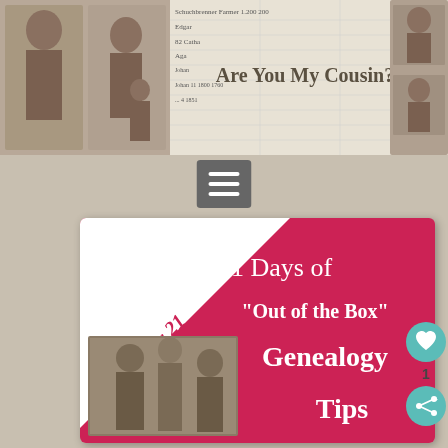[Figure (illustration): Blog header banner for 'Are You My Cousin?' genealogy blog, showing vintage sepia family photographs on the left and right, a handwritten census record in the center-left background, and the blog title 'Are You My Cousin?' in the center in dark serif text.]
[Figure (other): Gray hamburger/menu icon button (three horizontal white lines on dark gray square background)]
[Figure (infographic): Promotional card with deep pink/crimson background. White ribbon diagonal corner in top-left with 'Day 21' written in italic pink text. Large white text reads: '31 Days of' then '"Out of the Box"' then 'Genealogy' then 'Tips'. A small vintage sepia photograph of three people is in the lower-left of the card.]
[Figure (other): Teal circular heart/like button showing a heart icon, with count '1' below it, and a teal circular share button below that.]